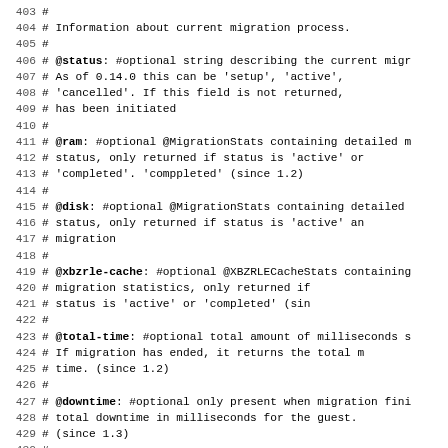Code block lines 404-435 showing QEMU migration API documentation comments
404 # Information about current migration process.
405 #
406 # @status: #optional string describing the current migr
407 #         As of 0.14.0 this can be 'setup', 'active',
408 #         'cancelled'. If this field is not returned,
409 #         has been initiated
410 #
411 # @ram: #optional @MigrationStats containing detailed m
412 #       status, only returned if status is 'active' or
413 #       'completed'. 'comppleted' (since 1.2)
414 #
415 # @disk: #optional @MigrationStats containing detailed
416 #        status, only returned if status is 'active' an
417 #        migration
418 #
419 # @xbzrle-cache: #optional @XBZRLECacheStats containing
420 #                migration statistics, only returned if
421 #                status is 'active' or 'completed' (sin
422 #
423 # @total-time: #optional total amount of milliseconds s
424 #              If migration has ended, it returns the total m
425 #              time. (since 1.2)
426 #
427 # @downtime: #optional only present when migration fini
428 #            total downtime in milliseconds for the guest.
429 #            (since 1.3)
430 #
431 # @expected-downtime: #optional only present while migr
432 #                    expected downtime in milliseconds for the gues
433 #                    of the dirty bitmap. (since 1.3)
434 #
435 # @setup-time: #optional amount of setup time in millis